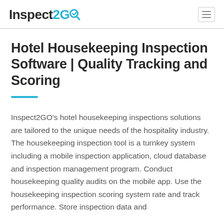Inspect2GO
Hotel Housekeeping Inspection Software | Quality Tracking and Scoring
Inspect2GO's hotel housekeeping inspections solutions are tailored to the unique needs of the hospitality industry. The housekeeping inspection tool is a turnkey system including a mobile inspection application, cloud database and inspection management program. Conduct housekeeping quality audits on the mobile app. Use the housekeeping inspection scoring system rate and track performance. Store inspection data and